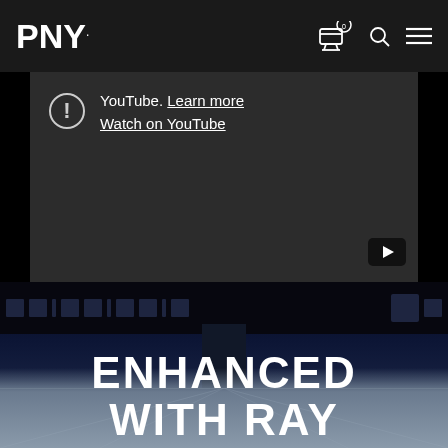[Figure (logo): PNY logo in white on dark navigation bar]
[Figure (screenshot): YouTube video blocked notice with exclamation icon, 'YouTube. Learn more' and 'Watch on YouTube' links, dark background, play button in bottom right corner]
[Figure (photo): Dark hero image showing a monitor/display from below with blue lighting and a ceiling reflection background]
ENHANCED WITH RAY